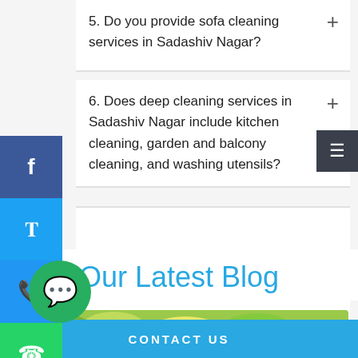5. Do you provide sofa cleaning services in Sadashiv Nagar?
6. Does deep cleaning services in Sadashiv Nagar include kitchen cleaning, garden and balcony cleaning, and washing utensils?
Our Latest Blog
[Figure (photo): Colorful cleaning sponges and rubber gloves in green and yellow]
CONTACT US